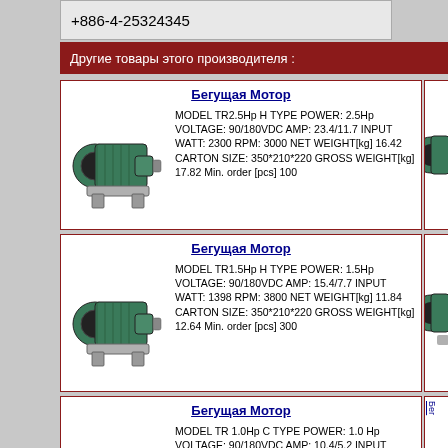+886-4-25324345
Другие товары этого производителя :
Бегущая Мотор
MODEL TR2.5Hp H TYPE POWER: 2.5Hp VOLTAGE: 90/180VDC AMP: 23.4/11.7 INPUT WATT: 2300 RPM: 3000 NET WEIGHT[kg] 16.42 CARTON SIZE: 350*210*220 GROSS WEIGHT[kg] 17.82 Min. order [pcs] 100
Бегущая Мотор
MODEL TR1.5Hp H TYPE POWER: 1.5Hp VOLTAGE: 90/180VDC AMP: 15.4/7.7 INPUT WATT: 1398 RPM: 3800 NET WEIGHT[kg] 11.84 CARTON SIZE: 350*210*220 GROSS WEIGHT[kg] 12.64 Min. order [pcs] 300
Бегущая Мотор
MODEL TR 1.0Hp C TYPE POWER: 1.0 Hp VOLTAGE: 90/180VDC AMP: 10.4/5.2 INPUT WATT: 932 RPM: 4200 NET WEIGHT[kg] 6.92 CARTON SIZE: 310*165*160 GROSS WEIGHT[kg] 7.7 Min. order [pcs] 500